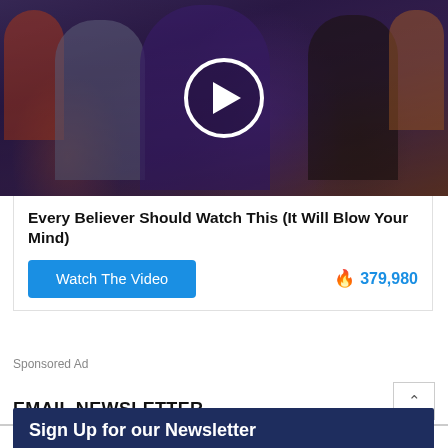[Figure (photo): Video thumbnail showing a group of politicians at a press conference. A woman in blue in the center has an expressive face; a play button overlay circle is visible in the center of the image.]
Every Believer Should Watch This (It Will Blow Your Mind)
Watch The Video
379,980
Sponsored Ad
EMAIL NEWSLETTER
Sign Up for our Newsletter